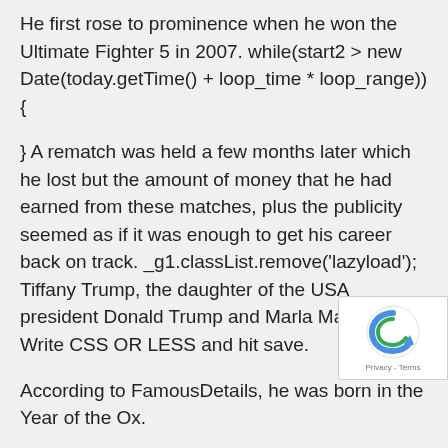He first rose to prominence when he won the Ultimate Fighter 5 in 2007. while(start2 > new Date(today.getTime() + loop_time * loop_range)) {
} A rematch was held a few months later which he lost but the amount of money that he had earned from these matches, plus the publicity seemed as if it was enough to get his career back on track. _g1.classList.remove('lazyload'); Tiffany Trump, the daughter of the USA president Donald Trump and Marla Maples... Write CSS OR LESS and hit save.
According to FamousDetails, he was born in the Year of the Ox.
He displays Brazilian Jiu-litsu and boxing skills in the